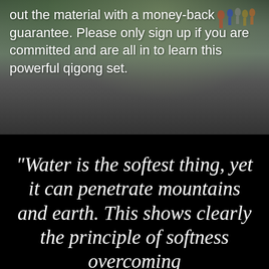[Figure (photo): Dark outdoor photo showing people in the background on a rocky/gravelly landscape with green grass and overcast sky. White text overlaid on image.]
out the material with a money-back guarantee. Please only sign up if you are committed and are all in to learn this powerful qigong set.
“Water is the softest thing, yet it can penetrate mountains and earth. This shows clearly the principle of softness overcoming